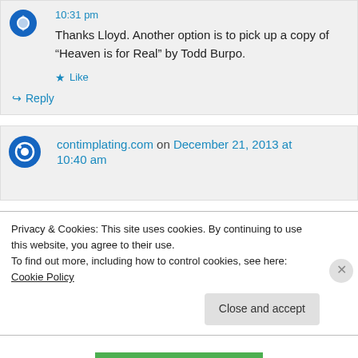10:31 pm
Thanks Lloyd. Another option is to pick up a copy of “Heaven is for Real” by Todd Burpo.
★ Like
↪ Reply
contimplating.com on December 21, 2013 at 10:40 am
Privacy & Cookies: This site uses cookies. By continuing to use this website, you agree to their use.
To find out more, including how to control cookies, see here: Cookie Policy
Close and accept